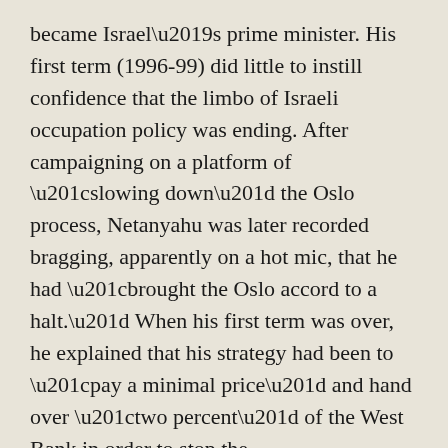became Israel's prime minister. His first term (1996-99) did little to instill confidence that the limbo of Israeli occupation policy was ending. After campaigning on a platform of “slowing down” the Oslo process, Netanyahu was later recorded bragging, apparently on a hot mic, that he had “brought the Oslo accord to a halt.” When his first term was over, he explained that his strategy had been to “pay a minimal price” and hand over “two percent” of the West Bank in order to stop the “stampede” to the 1967 pre-war lines. Back in the late 1970s, Begin had taken a similar approach: Ceding the Sinai back to Egypt and uprooting Israeli settlements there in order to maintain the status quo in the other territories.